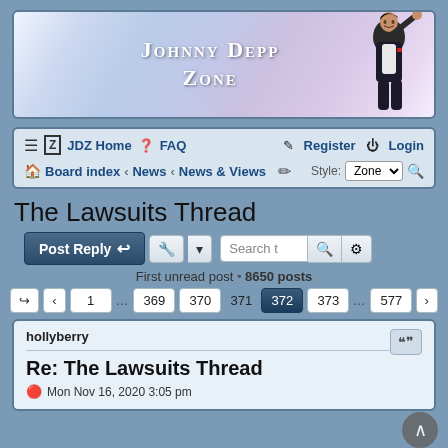[Figure (screenshot): Johnny Depp Zone forum banner with text 'Johnny Depp Zone' and image of Johnny Depp waving]
[Figure (screenshot): Navigation bar with JDZ Home, FAQ, Register, Login links and Board index breadcrumb with Style selector]
The Lawsuits Thread
[Figure (screenshot): Post Reply toolbar with search field and pagination showing pages 369-373 of 577, 8650 posts total]
hollyberry
Re: The Lawsuits Thread
Mon Nov 16, 2020 3:05 pm